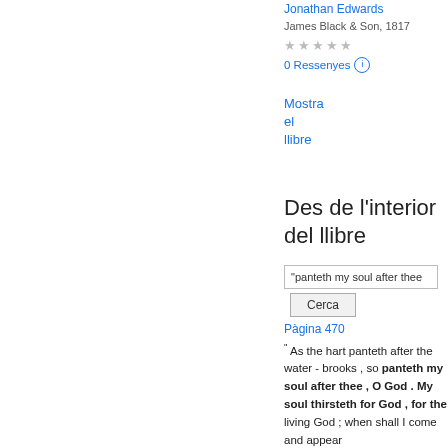Jonathan Edwards
James Black & Son, 1817
★★★★★
0 Ressenyes ⓘ
Mostra el llibre
Des de l'interior del llibre
"panteth my soul after thee
Cerca
Pàgina 470
" As the hart panteth after the water - brooks , so panteth my soul after thee , O God . My soul thirsteth for God , for the living God ; when shall I come and appear